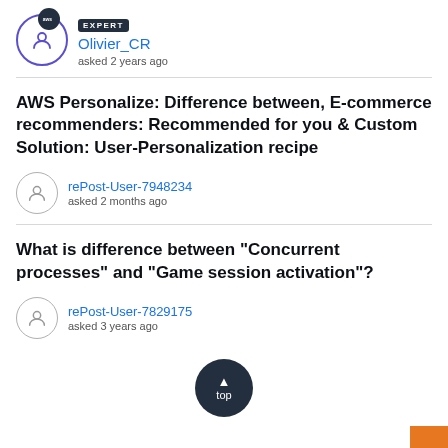EXPERT Olivier_CR asked 2 years ago
AWS Personalize: Difference between, E-commerce recommenders: Recommended for you & Custom Solution: User-Personalization recipe
rePost-User-7948234 asked 2 months ago
What is difference between "Concurrent processes" and "Game session activation"?
rePost-User-7829175 asked 3 years ago
[Figure (other): Back-to-top button: dark circular button with up arrow and 'top' label]